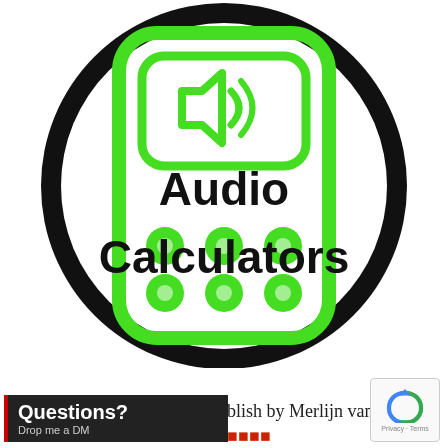[Figure (logo): Audio Calculators logo: a large black circle containing a white circle, inside which is a green rounded-rectangle calculator icon with a speaker/sound icon at top and six green circular buttons at bottom, with bold black text 'Audio Calculators' overlaid]
[Figure (infographic): Dark overlay box with red left border reading 'Questions? Drop me a DM']
ublish by Merlijn van
[Figure (other): reCAPTCHA badge with Privacy and Terms links]